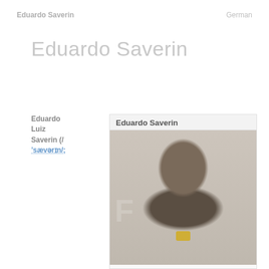Eduardo Saverin
German
Eduardo Saverin
Eduardo Luiz Saverin (/ˈsævərɪn/;
[Figure (photo): Portrait photo of Eduardo Saverin smiling, wearing a dark jacket and yellow lanyard, with a large letter visible in the background.]